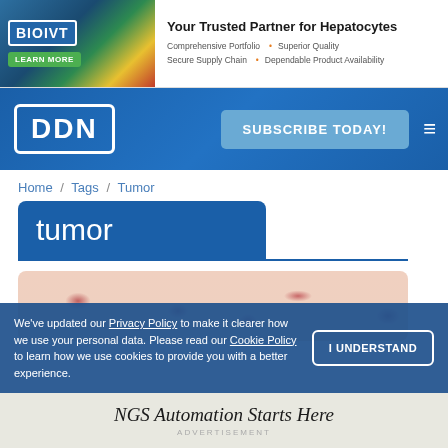[Figure (other): BioIVT advertisement banner: 'Your Trusted Partner for Hepatocytes' with Comprehensive Portfolio, Superior Quality, Secure Supply Chain, Dependable Product Availability]
DDN | SUBSCRIBE TODAY!
Home / Tags / Tumor
tumor
[Figure (photo): Microscopic image of tumor tissue showing pink/red cellular structures]
We've updated our Privacy Policy to make it clearer how we use your personal data. Please read our Cookie Policy to learn how we use cookies to provide you with a better experience.
I UNDERSTAND
NGS Automation Starts Here
ADVERTISEMENT